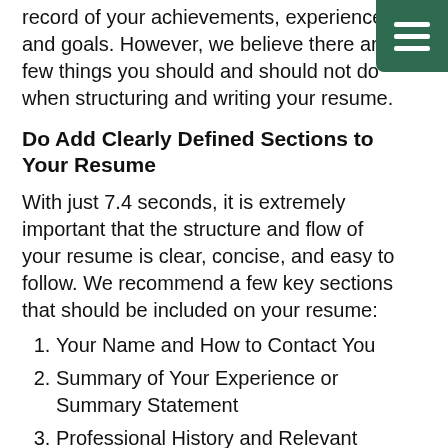record of your achievements, experience, and goals. However, we believe there are a few things you should and should not do when structuring and writing your resume.
Do Add Clearly Defined Sections to Your Resume
With just 7.4 seconds, it is extremely important that the structure and flow of your resume is clear, concise, and easy to follow. We recommend a few key sections that should be included on your resume:
Your Name and How to Contact You
Summary of Your Experience or Summary Statement
Professional History and Relevant Work Experience
Education
Relevant Skills and Certifications